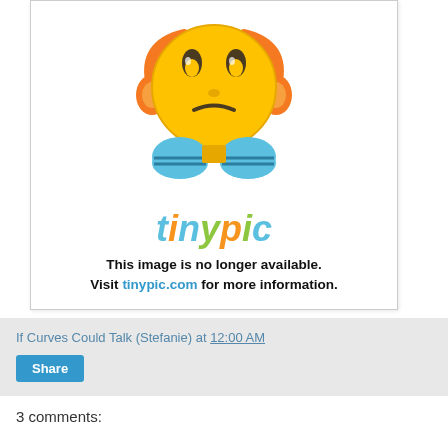[Figure (illustration): Tinypic image placeholder showing a sad yellow emoji face with orange headphones and blue hands, above the 'tinypic' logo text and the message 'This image is no longer available. Visit tinypic.com for more information.']
If Curves Could Talk (Stefanie) at 12:00 AM
Share
3 comments: